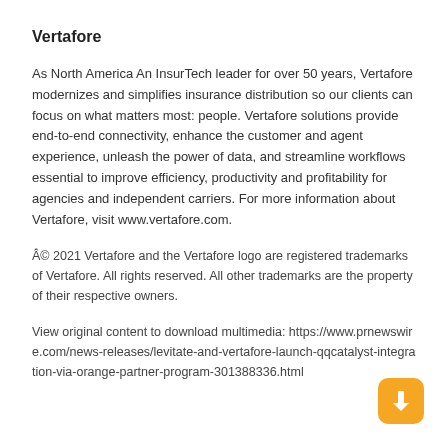Vertafore
As North America An InsurTech leader for over 50 years, Vertafore modernizes and simplifies insurance distribution so our clients can focus on what matters most: people. Vertafore solutions provide end-to-end connectivity, enhance the customer and agent experience, unleash the power of data, and streamline workflows essential to improve efficiency, productivity and profitability for agencies and independent carriers. For more information about Vertafore, visit www.vertafore.com.
Â© 2021 Vertafore and the Vertafore logo are registered trademarks of Vertafore. All rights reserved. All other trademarks are the property of their respective owners.
View original content to download multimedia: https://www.prnewswire.com/news-releases/levitate-and-vertafore-launch-qqcatalyst-integration-via-orange-partner-program-301388336.html